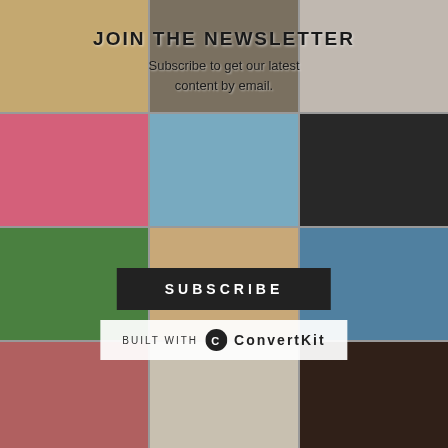[Figure (photo): 3x4 grid of photos of women in various outfits with newsletter subscription overlay]
JOIN THE NEWSLETTER
Subscribe to get our latest content by email.
SUBSCRIBE
BUILT WITH ConvertKit